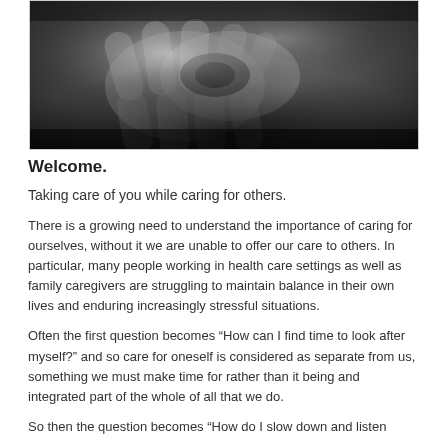[Figure (photo): Black and white close-up photograph of hands clasped or holding together, likely two people, one appearing older.]
Welcome.
Taking care of you while caring for others.
There is a growing need to understand the importance of caring for ourselves, without it we are unable to offer our care to others. In particular, many people working in health care settings as well as family caregivers are struggling to maintain balance in their own lives and enduring increasingly stressful situations.
Often the first question becomes “How can I find time to look after myself?” and so care for oneself is considered as separate from us, something we must make time for rather than it being and integrated part of the whole of all that we do.
So then the question becomes “How do I slow down and listen…